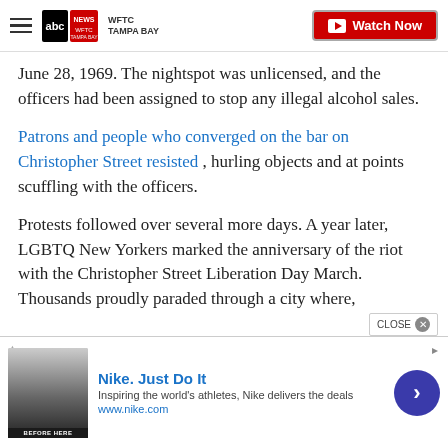WFTC TAMPA BAY — Watch Now
June 28, 1969. The nightspot was unlicensed, and the officers had been assigned to stop any illegal alcohol sales.
Patrons and people who converged on the bar on Christopher Street resisted , hurling objects and at points scuffling with the officers.
Protests followed over several more days. A year later, LGBTQ New Yorkers marked the anniversary of the riot with the Christopher Street Liberation Day March. Thousands proudly paraded through a city where,
[Figure (screenshot): Nike advertisement banner at bottom of page showing Nike logo, 'Nike. Just Do It' headline, 'Inspiring the world's athletes, Nike delivers the deals' subtext, www.nike.com URL, a thumbnail image, and a blue circular arrow button. A CLOSE button is also visible.]